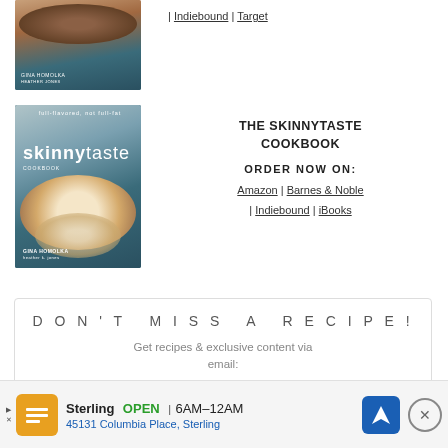[Figure (photo): Top portion of a cookbook book cover with food photo (partially cropped)]
| Indiebound | Target
[Figure (photo): The Skinnytaste Cookbook cover showing shrimp dish and book title]
THE SKINNYTASTE COOKBOOK
ORDER NOW ON:
Amazon | Barnes & Noble | Indiebound | iBooks
DON'T MISS A RECIPE!
Get recipes & exclusive content via email:
[Figure (other): Advertisement bar: Sterling restaurant, OPEN 6AM-12AM, 45131 Columbia Place, Sterling]